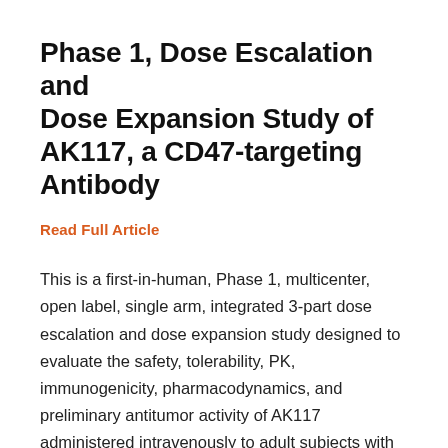Phase 1, Dose Escalation and Dose Expansion Study of AK117, a CD47-targeting Antibody
Read Full Article
This is a first-in-human, Phase 1, multicenter, open label, single arm, integrated 3-part dose escalation and dose expansion study designed to evaluate the safety, tolerability, PK, immunogenicity, pharmacodynamics, and preliminary antitumor activity of AK117 administered intravenously to adult subjects with relapsed/refractory advanced or metastatic solid tumors or lymphomas.